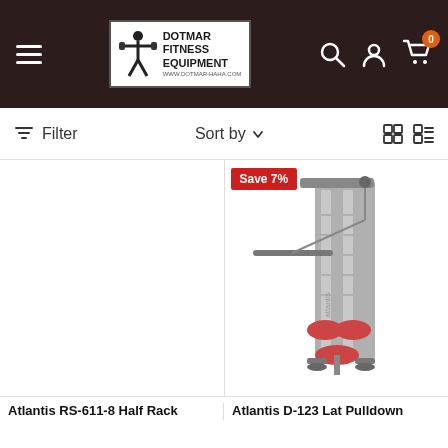[Figure (screenshot): Dotmar Fitness Equipment website header with hamburger menu, logo, search, account, and cart icons on dark brown background]
Filter   Sort by ↓   ⊞ ≡
[Figure (photo): Atlantis D-123 Lat Pulldown machine with red seat and arm pads, shown on right panel with Save 7% badge]
Atlantis RS-611-8 Half Rack
Atlantis D-123 Lat Pulldown